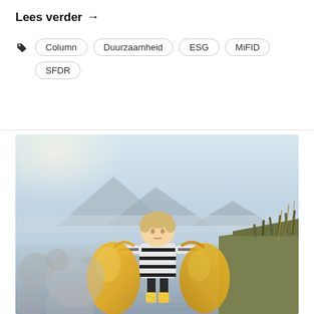Lees verder →
Column
Duurzaamheid
ESG
MiFID
SFDR
[Figure (photo): Young child standing in a wetland or shallow flooded area, holding two large yellow garbage/collection bags, one in each outstretched hand. The child wears a striped sweater. Background shows misty mountains, water reflections, and dry reeds in warm golden light. Decorative grey circle overlays appear on the bottom-left of the image.]